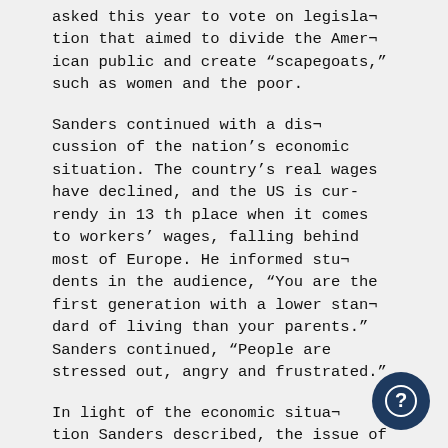asked this year to vote on legislation that aimed to divide the American public and create “scapegoats,” such as women and the poor.
Sanders continued with a discussion of the nation’s economic situation. The country’s real wages have declined, and the US is currendy in 13 th place when it comes to workers’ wages, falling behind most of Europe. He informed students in the audience, “You are the first generation with a lower standard of living than your parents.” Sanders continued, “People are stressed out, angry and frustrated.”
In light of the economic situation Sanders described, the issue of welfare appears particularly pressing. He explained that while the country needs welfare reform, it cannot leave children out in the